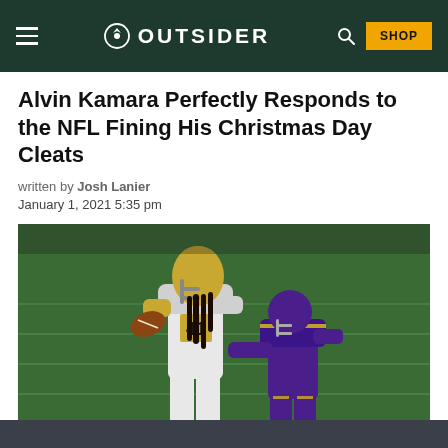OUTSIDER
Alvin Kamara Perfectly Responds to the NFL Fining His Christmas Day Cleats
written by Josh Lanier
January 1, 2021 5:35 pm
[Figure (photo): NFL player Alvin Kamara wearing New Orleans Saints jersey number 41, carrying a football and being tackled by a Minnesota Vikings defender in purple jersey, on a green field.]